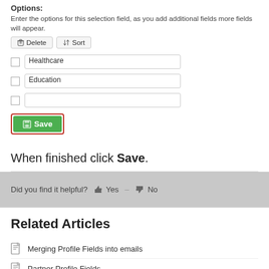Options:
Enter the options for this selection field, as you add additional fields more fields will appear.
[Figure (screenshot): UI form with Delete and Sort buttons, two text input fields labeled Healthcare and Education, a third empty input, and a green Save button outlined in red]
When finished click Save.
Did you find it helpful? 👍 Yes – 👎 No
Related Articles
Merging Profile Fields into emails
Partner Profile Fields